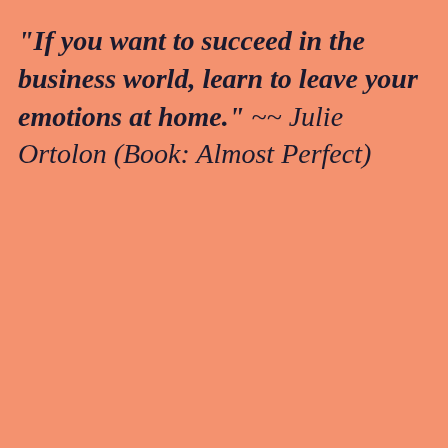"If you want to succeed in the business world, learn to leave your emotions at home." ~~ Julie Ortolon (Book: Almost Perfect)